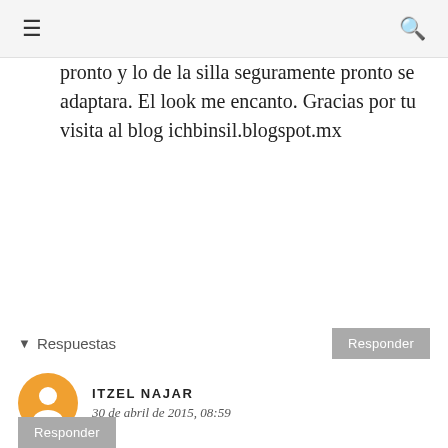≡  🔍
pronto y lo de la silla seguramente pronto se adaptara. El look me encanto. Gracias por tu visita al blog ichbinsil.blogspot.mx
▾  Respuestas
ITZEL NAJAR
30 de abril de 2015, 08:59
Muchas gracias, un saludo!!!